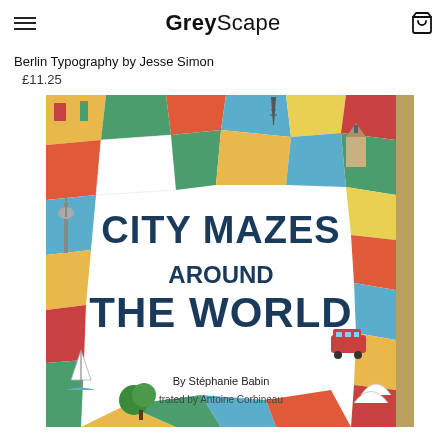GreyScape
Berlin Typography by Jesse Simon
£11.25
[Figure (photo): Book cover of 'City Mazes Around The World' by Stéphanie Babin, illustrated by Antoine Corbineau. Colorful illustrated cover showing city landmarks and maps as puzzle pieces.]